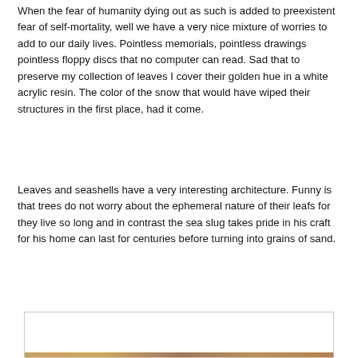When the fear of humanity dying out as such is added to preexistent fear of self-mortality, well we have a very nice mixture of worries to add to our daily lives. Pointless memorials, pointless drawings pointless floppy discs that no computer can read. Sad that to preserve my collection of leaves I cover their golden hue in a white acrylic resin. The color of the snow that would have wiped their structures in the first place, had it come.
Leaves and seashells have a very interesting architecture. Funny is that trees do not worry about the ephemeral nature of their leafs for they live so long and in contrast the sea slug takes pride in his craft for his home can last for centuries before turning into grains of sand.
[Figure (photo): Partially visible image at bottom of page, showing what appears to be a nature or landscape photograph, mostly cut off]